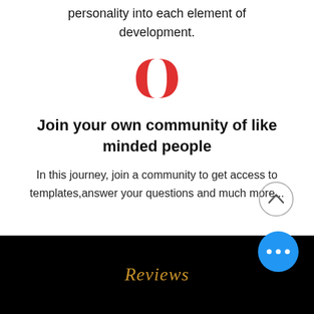personality into each element of development.
[Figure (logo): Red bowtie/butterfly-shaped logo mark made of two mirrored red shapes]
Join your own community of like minded people
In this journey, join a community to get access to templates,answer your questions and much more...
[Figure (illustration): Circular up-arrow chevron button (grey outline circle with upward chevron inside)]
Reviews
[Figure (illustration): Blue circular FAB button with three white dots (more options)]